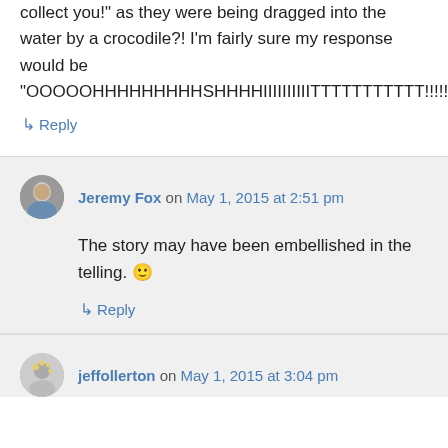collect you!" as they were being dragged into the water by a crocodile?! I’m fairly sure my response would be “OOOOOHHHHHHHHHHSHHHHIIIIIIIIIIITTTTTTTTTTT!!!!!!!!!!!!!!!!!!!!!!!!!!!!!!!!”
↳ Reply
Jeremy Fox on May 1, 2015 at 2:51 pm
The story may have been embellished in the telling. 🙂
↳ Reply
jeffollerton on May 1, 2015 at 3:04 pm